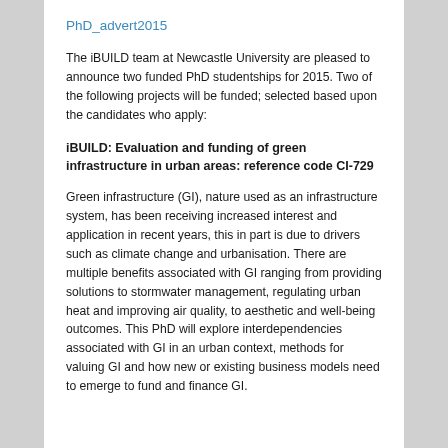PhD_advert2015
The iBUILD team at Newcastle University are pleased to announce two funded PhD studentships for 2015. Two of the following projects will be funded; selected based upon the candidates who apply:
iBUILD: Evaluation and funding of green infrastructure in urban areas: reference code CI-729
Green infrastructure (GI), nature used as an infrastructure system, has been receiving increased interest and application in recent years, this in part is due to drivers such as climate change and urbanisation. There are multiple benefits associated with GI ranging from providing solutions to stormwater management, regulating urban heat and improving air quality, to aesthetic and well-being outcomes. This PhD will explore interdependencies associated with GI in an urban context, methods for valuing GI and how new or existing business models need to emerge to fund and finance GI.